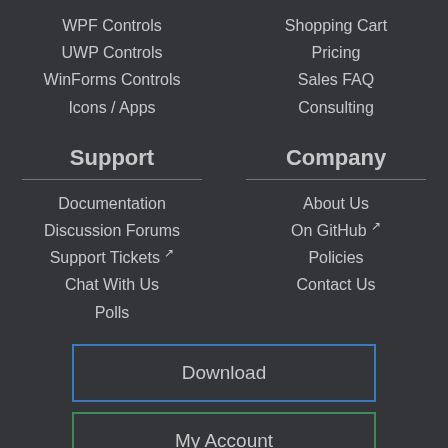WPF Controls
UWP Controls
WinForms Controls
Icons / Apps
Shopping Cart
Pricing
Sales FAQ
Consulting
Support
Documentation
Discussion Forums
Support Tickets ↗
Chat With Us
Polls
Company
About Us
On GitHub ↗
Policies
Contact Us
Download
My Account
Follow us